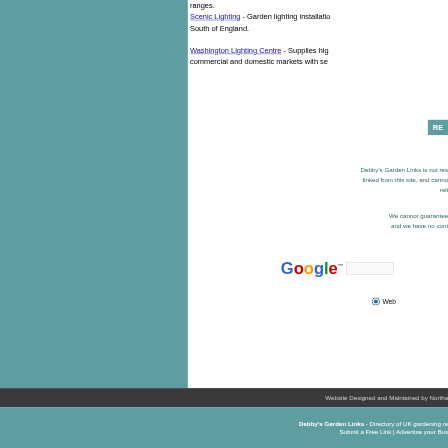ranges.
Scenic Lighting - Garden lighting installation South of England.
Washington Lighting Centre - Supplies high commercial and domestic markets with se...
Debby's Garden Links is not responsible for the content of sites linked from this site, and cannot guarantee the accuracy or reliability...
We cannot guarantee that these links will always work, and we have no control over...
[Figure (screenshot): Google search box with Web radio button selected]
Website Designed and Maintained by Northa...
Debby's Garden Links - Directory of UK gardening re... Submit a Free Link | Advertise your Bus...